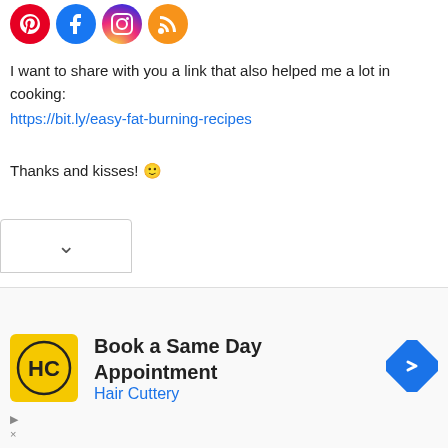[Figure (illustration): Four social media icon circles: Pinterest (red), Facebook (blue), Instagram (gradient), RSS (orange)]
I want to share with you a link that also helped me a lot in cooking:
https://bit.ly/easy-fat-burning-recipes
Thanks and kisses! 🙂
Reply
[Figure (screenshot): Dropdown chevron bar at bottom of comment section]
[Figure (infographic): Advertisement banner: Hair Cuttery logo, text 'Book a Same Day Appointment', 'Hair Cuttery', navigation arrow icon]